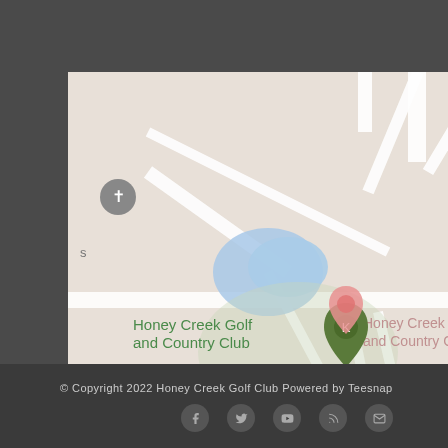[Figure (map): Google Maps screenshot showing Honey Creek Golf and Country Club location. Map features road network, water bodies (blue areas), a green map pin for Honey Creek Golf and Country Club, a pink/salmon pin also labeled Honey Creek Golf and Country Club, a blue pin for Prince Paridise, a church pin, and creek labels including McClane Creek.]
© Copyright 2022 Honey Creek Golf Club Powered by Teesnap